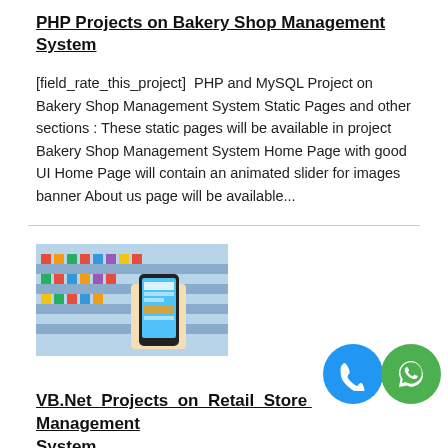PHP Projects on Bakery Shop Management System
[field_rate_this_project]  PHP and MySQL Project on Bakery Shop Management System Static Pages and other sections : These static pages will be available in project Bakery Shop Management System Home Page with good UI Home Page will contain an animated slider for images banner About us page will be available...
[Figure (photo): Photo of a person holding a smartphone in a retail/grocery store aisle]
VB.Net Projects on Retail Store Management System
[field_rate_this_project] VB.net and MySQL Project on Retail Store Management System have develop Retail Store Management System in VB.net with MySQL